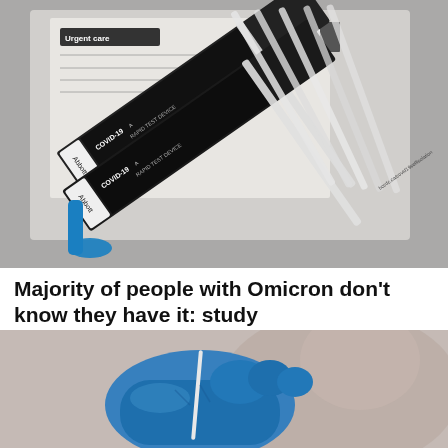[Figure (photo): Close-up photo of Abbott COVID-19 rapid test device packages and swabs in a plastic bag, along with urgent care paperwork. Blue-tipped swabs and black-and-white test device packaging are visible.]
Majority of people with Omicron don't know they have it: study
[Figure (photo): Close-up photo of a gloved hand (blue nitrile glove) holding a nasal swab, with a blurred person in the background.]